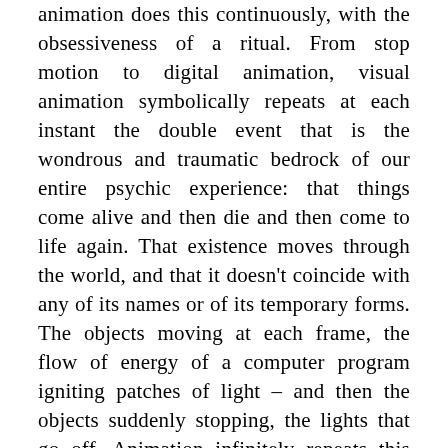animation does this continuously, with the obsessiveness of a ritual. From stop motion to digital animation, visual animation symbolically repeats at each instant the double event that is the wondrous and traumatic bedrock of our entire psychic experience: that things come alive and then die and then come to life again. That existence moves through the world, and that it doesn't coincide with any of its names or of its temporary forms. The objects moving at each frame, the flow of energy of a computer program igniting patches of light – and then the objects suddenly stopping, the lights that go off. Animation infinitely repeats this gesture in its most stylised form. The